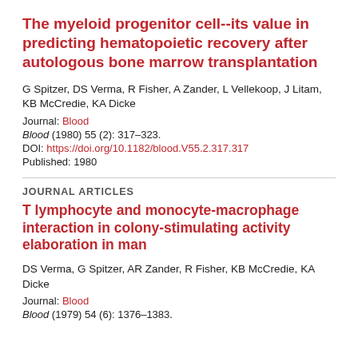The myeloid progenitor cell--its value in predicting hematopoietic recovery after autologous bone marrow transplantation
G Spitzer, DS Verma, R Fisher, A Zander, L Vellekoop, J Litam, KB McCredie, KA Dicke
Journal: Blood
Blood (1980) 55 (2): 317–323.
DOI: https://doi.org/10.1182/blood.V55.2.317.317
Published: 1980
JOURNAL ARTICLES
T lymphocyte and monocyte-macrophage interaction in colony-stimulating activity elaboration in man
DS Verma, G Spitzer, AR Zander, R Fisher, KB McCredie, KA Dicke
Journal: Blood
Blood (1979) 54 (6): 1376–1383.